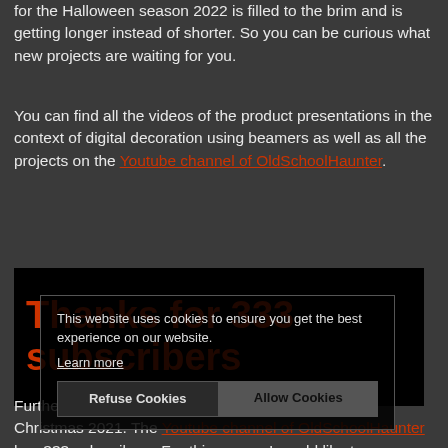for the Halloween season 2022 is filled to the brim and is getting longer instead of shorter. So you can be curious what new projects are waiting for you.
You can find all the videos of the product presentations in the context of digital decoration using beamers as well as all the projects on the Youtube channel of OldSchoolHaunter.
[Figure (screenshot): Embedded YouTube video thumbnail showing 'Thanks for 333 subscribers' text in dark/red on black background]
This website uses cookies to ensure you get the best experience on our website. Learn more
Refuse Cookies   Allow Cookies
Furthermore, there is still something to celebrate in Christmas 2021. The Youtube channel of OldSchoolHaunter has 333 subscribers. For this reason I would like to say thank you. Thanks to all subscribers and all who support my